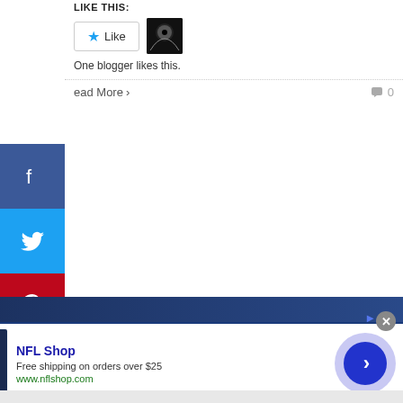LIKE THIS:
[Figure (screenshot): WordPress Like button with star icon and blogger thumbnail. Text: One blogger likes this.]
One blogger likes this.
ead More > 0
[Figure (infographic): Social media sharing sidebar with Facebook, Twitter, Pinterest, LinkedIn, and Tumblr icons]
[Figure (screenshot): Infolinks advertisement bar: NFL Shop - Free shipping on orders over $25 - www.nflshop.com with Dallas Cowboys jersey image and navigation arrow button]